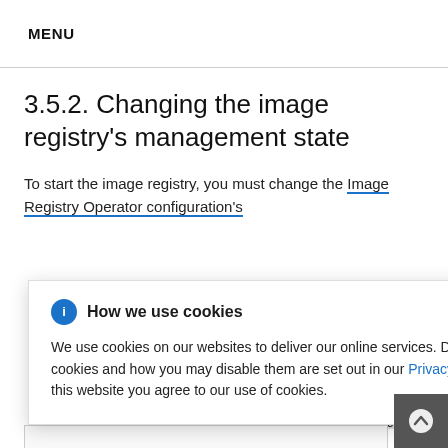MENU
3.5.2. Changing the image registry’s management state
To start the image registry, you must change the Image Registry Operator configuration’s management state to Managed.
[Figure (screenshot): Cookie consent popup overlay. Header: 'How we use cookies' with blue info icon and X close button. Body text: 'We use cookies on our websites to deliver our online services. Details about how we use cookies and how you may disable them are set out in our Privacy Statement. By using this website you agree to our use of cookies.']